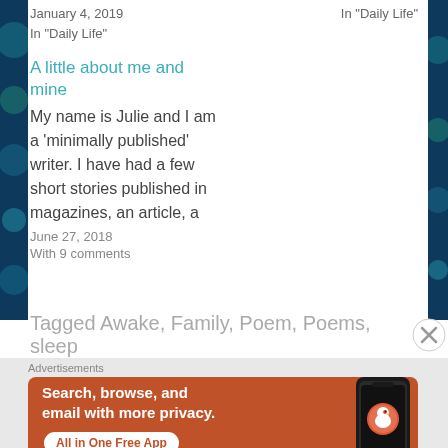January 4, 2019
In "Daily Life"
In "Daily Life"
A little about me and mine
My name is Julie and I am a 'minimally published' writer. I have had a few short stories published in magazines, an article, a
June 27, 2018
With 9 comments
Tagged Awake, Family, Poem, Poems, sleep
Advertisements
[Figure (screenshot): DuckDuckGo advertisement banner: orange background with white bold text 'Search, browse, and email with more privacy.' and 'All in One Free App' button, with a phone showing the DuckDuckGo app logo on the right]